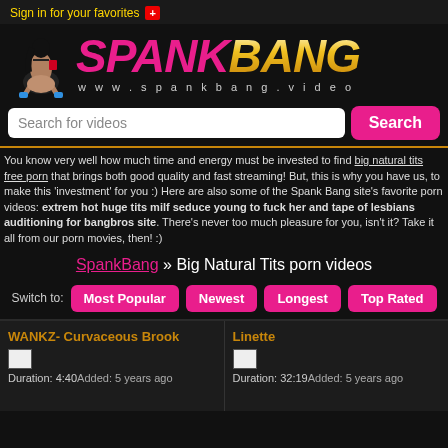Sign in for your favorites +
[Figure (logo): SpankBang logo with illustrated figure and text 'www.spankbang.video']
Search for videos
You know very well how much time and energy must be invested to find big natural tits free porn that brings both good quality and fast streaming! But, this is why you have us, to make this 'investment' for you :) Here are also some of the Spank Bang site's favorite porn videos: extrem hot huge tits milf seduce young to fuck her and tape of lesbians auditioning for bangbros site. There's never too much pleasure for you, isn't it? Take it all from our porn movies, then! :)
SpankBang » Big Natural Tits porn videos
Switch to: Most Popular Newest Longest Top Rated
WANKZ- Curvaceous Brook
Duration: 4:40 Added: 5 years ago
Linette
Duration: 32:19 Added: 5 years ago